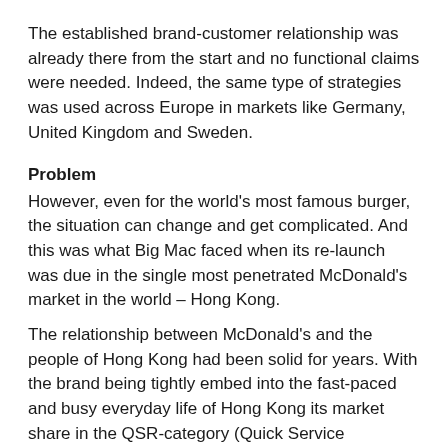The established brand-customer relationship was already there from the start and no functional claims were needed. Indeed, the same type of strategies was used across Europe in markets like Germany, United Kingdom and Sweden.
Problem
However, even for the world's most famous burger, the situation can change and get complicated. And this was what Big Mac faced when its re-launch was due in the single most penetrated McDonald's market in the world – Hong Kong.
The relationship between McDonald's and the people of Hong Kong had been solid for years. With the brand being tightly embed into the fast-paced and busy everyday life of Hong Kong its market share in the QSR-category (Quick Service Restaurants) is stable around 50 %. Unsurprisingly, the market has consistently been viewed as one of the golden performers globally.